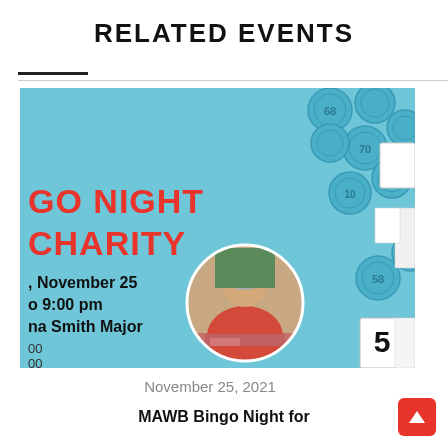RELATED EVENTS
[Figure (photo): Bingo Night for Charity event promotional image on light blue background with blue bingo chips scattered around, showing text 'GO NIGHT CHARITY, November 25, to 9:00 pm, na Smith Major' and a circular photo of a woman in red sitting at a table with bingo cards, plus bingo number tiles including numbers 5, 10, 58, 70]
November 25, 2021
MAWB Bingo Night for